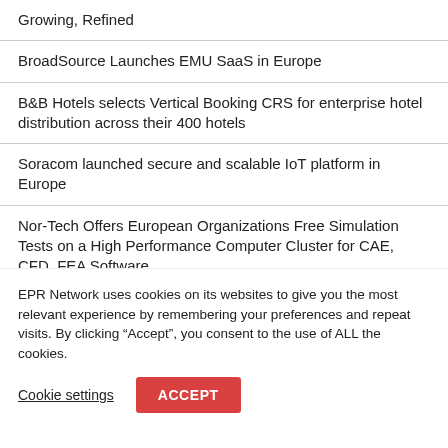Growing, Refined
BroadSource Launches EMU SaaS in Europe
B&B Hotels selects Vertical Booking CRS for enterprise hotel distribution across their 400 hotels
Soracom launched secure and scalable IoT platform in Europe
Nor-Tech Offers European Organizations Free Simulation Tests on a High Performance Computer Cluster for CAE, CFD, FEA Software
EPR Network uses cookies on its websites to give you the most relevant experience by remembering your preferences and repeat visits. By clicking “Accept”, you consent to the use of ALL the cookies.